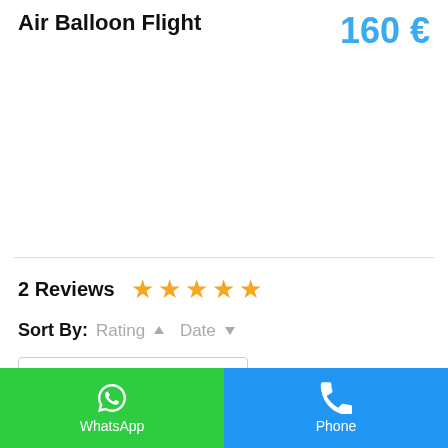Air Balloon Flight
160 €
2 Reviews ★★★★★
Sort By: Rating ▲ Date ▼
Filter By
WhatsApp | Phone